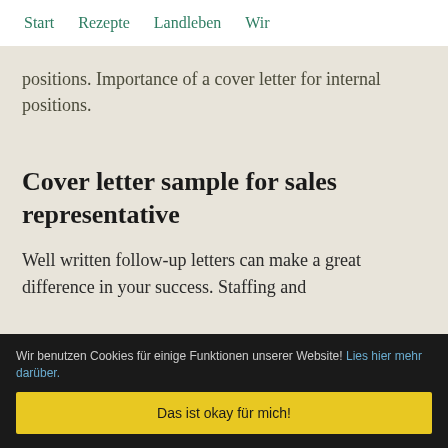Start   Rezepte   Landleben   Wir
positions. Importance of a cover letter for internal positions.
Cover letter sample for sales representative
Well written follow-up letters can make a great difference in your success. Staffing and
Wir benutzen Cookies für einige Funktionen unserer Website! Lies hier mehr darüber.
Das ist okay für mich!